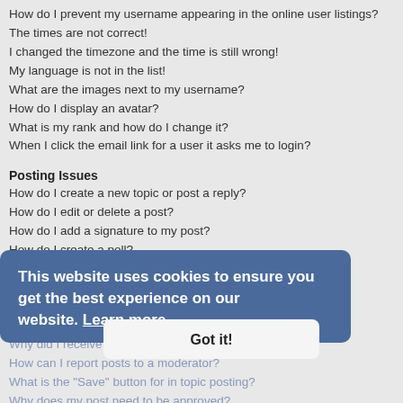How do I prevent my username appearing in the online user listings?
The times are not correct!
I changed the timezone and the time is still wrong!
My language is not in the list!
What are the images next to my username?
How do I display an avatar?
What is my rank and how do I change it?
When I click the email link for a user it asks me to login?
Posting Issues
How do I create a new topic or post a reply?
How do I edit or delete a post?
How do I add a signature to my post?
How do I create a poll?
Why can't I add more poll options?
How do I edit or delete a poll?
Why can't I access a forum?
Why can't I add attachments?
Why did I receive a warning?
How can I report posts to a moderator?
What is the "Save" button for in topic posting?
Why does my post need to be approved?
How do I bump my topic?
Formatting and Topic Types
What is BBCode?
[Figure (screenshot): Cookie consent overlay with text 'This website uses cookies to ensure you get the best experience on our website. Learn more' and a 'Got it!' button]